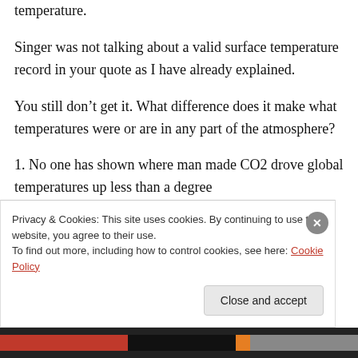temperature.
Singer was not talking about a valid surface temperature record in your quote as I have already explained.
You still don’t get it. What difference does it make what temperatures were or are in any part of the atmosphere?
1. No one has shown where man made CO2 drove global temperatures up less than a degree
Privacy & Cookies: This site uses cookies. By continuing to use this website, you agree to their use.
To find out more, including how to control cookies, see here: Cookie Policy
Close and accept